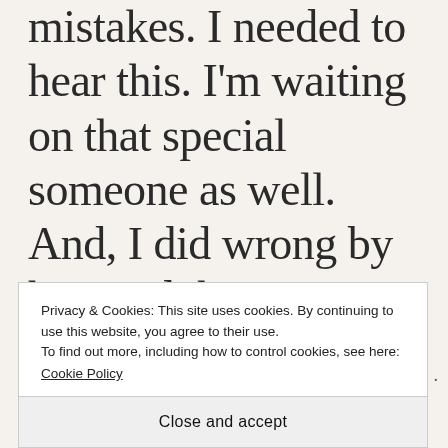mistakes. I needed to hear this. I'm waiting on that special someone as well. And, I did wrong by him and this person loves me it's just that we are not on a communicative basis right now. Keep pressing towards
Privacy & Cookies: This site uses cookies. By continuing to use this website, you agree to their use.
To find out more, including how to control cookies, see here: Cookie Policy
Close and accept